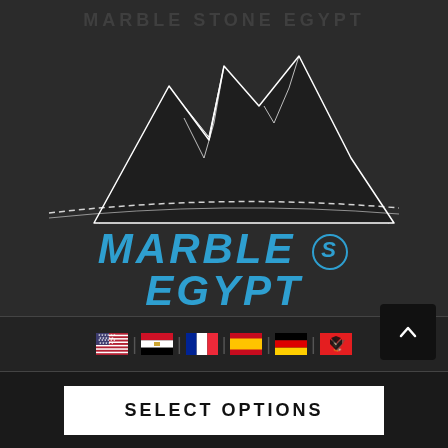MARBLE STONE EGYPT
[Figure (logo): Mountain/rock outline logo illustration in white line art on dark background]
MARBLE S EGYPT
MARBLE & GRANITE
Marble stone egypt
[Figure (illustration): Row of country flags: USA, Egypt, France, Spain, Germany, Albania]
SELECT OPTIONS